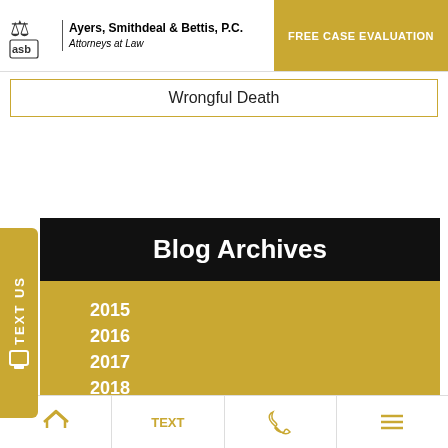Ayers, Smithdeal & Bettis, P.C. Attorneys at Law | FREE CASE EVALUATION
Wrongful Death
Blog Archives
2015
2016
2017
2018
2019
2020
2021
Home | TEXT | Phone | Menu